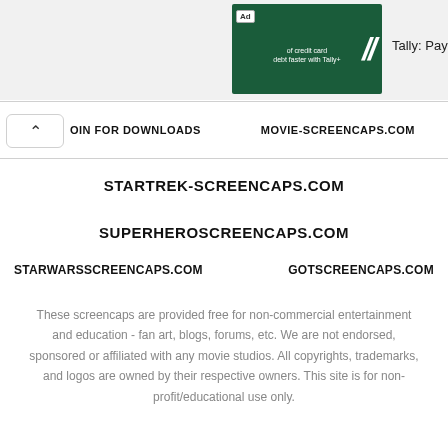[Figure (screenshot): Advertisement banner showing a dark green background with white text and a cartoon cow character, labeled 'Ad', with 'Tally: PayOff D...' text to the right]
OIN FOR DOWNLOADS   MOVIE-SCREENCAPS.COM
STARTREK-SCREENCAPS.COM
SUPERHEROSCREENCAPS.COM
STARWARSSCREENCAPS.COM   GOTSCREENCAPS.COM
These screencaps are provided free for non-commercial entertainment and education - fan art, blogs, forums, etc. We are not endorsed, sponsored or affiliated with any movie studios. All copyrights, trademarks, and logos are owned by their respective owners. This site is for non-profit/educational use only.